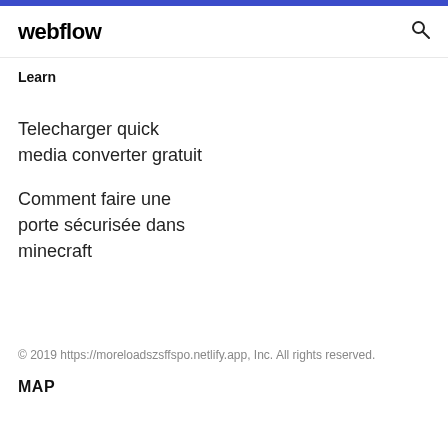webflow
Learn
Telecharger quick media converter gratuit
Comment faire une porte sécurisée dans minecraft
© 2019 https://moreloadszsffspo.netlify.app, Inc. All rights reserved.
MAP